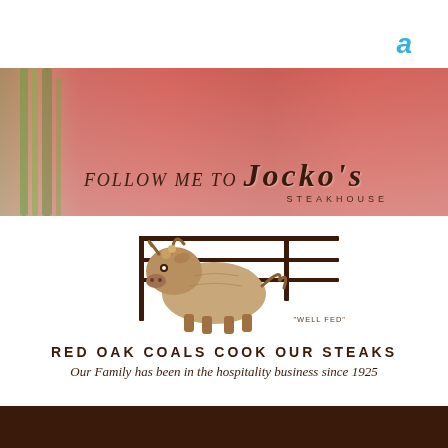a
[Figure (illustration): Banner with steak/meat background photo overlaid with text 'FOLLOW ME TO JOCKO'S STEAKHOUSE']
[Figure (illustration): Jocko's Steakhouse logo: a well-fed bull standing behind a wooden fence, with the text 'WELL FED' beneath it]
RED OAK COALS COOK OUR STEAKS
Our Family has been in the hospitality business since 1925